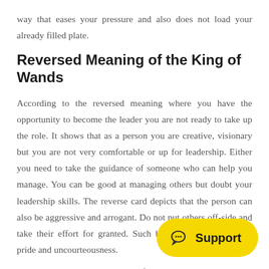way that eases your pressure and also does not load your already filled plate.
Reversed Meaning of the King of Wands
According to the reversed meaning where you have the opportunity to become the leader you are not ready to take up the role. It shows that as a person you are creative, visionary but you are not very comfortable or up for leadership. Either you need to take the guidance of someone who can help you manage. You can be good at managing others but doubt your leadership skills. The reverse card depicts that the person can also be aggressive and arrogant. Do not put others off-side and take their effort for granted. Such behaviour can show you pride and uncourteousness.
Find the importance of teamwork, complete th… the leadership.